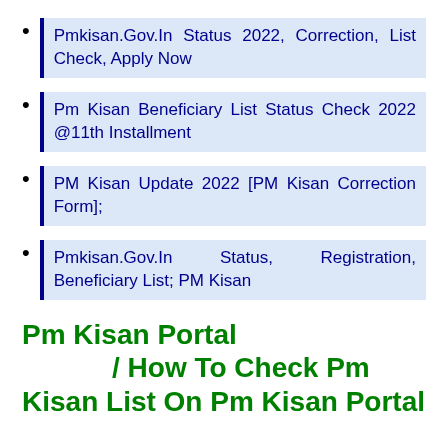Pmkisan.Gov.In Status 2022, Correction, List Check, Apply Now
Pm Kisan Beneficiary List Status Check 2022 @11th Installment
PM Kisan Update 2022 [PM Kisan Correction Form];
Pmkisan.Gov.In Status, Registration, Beneficiary List; PM Kisan
Pm Kisan Portal / How To Check Pm Kisan List On Pm Kisan Portal